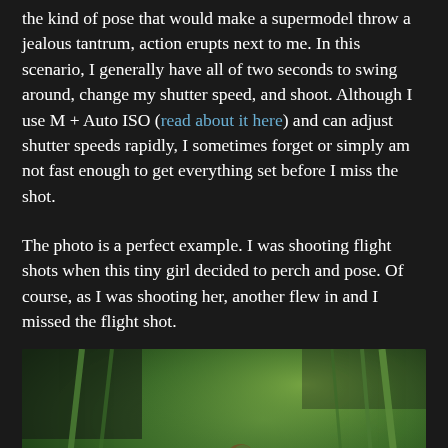the kind of pose that would make a supermodel throw a jealous tantrum, action erupts next to me. In this scenario, I generally have all of two seconds to swing around, change my shutter speed, and shoot. Although I use M + Auto ISO (read about it here) and can adjust shutter speeds rapidly, I sometimes forget or simply am not fast enough to get everything set before I miss the shot.
The photo is a perfect example. I was shooting flight shots when this tiny girl decided to perch and pose. Of course, as I was shooting her, another flew in and I missed the flight shot.
[Figure (photo): A hummingbird perched among green stems against a blurred green background. A teal chat button icon is overlaid in the bottom-left corner of the image.]